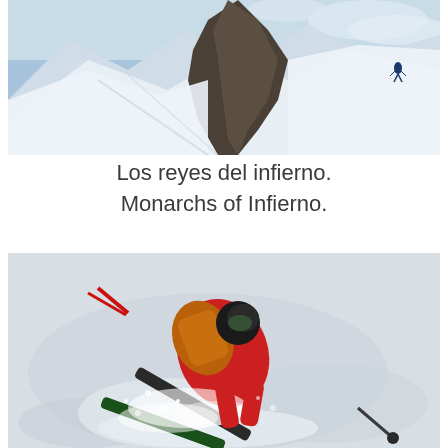[Figure (photo): Aerial/wide view of snow-covered mountain peaks with rocky cliffs and a skier descending a steep white slope in the upper right corner. Blue sky with clouds visible at top.]
Los reyes del infierno.
Monarchs of Infierno.
[Figure (photo): Close-up overhead view of a skier in red and black gear with an orange backpack, skiing through deep powder snow, spraying snow, with ski poles and skis visible.]